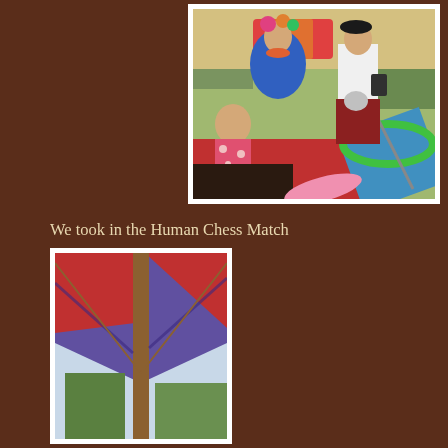[Figure (photo): A photo showing a young girl in a pink polka-dot shirt looking at a colorful jester/carnival performer in blue costume and a man in a Scottish kilt holding a tankard, with a rainbow umbrella in the foreground, at a fair or festival.]
We took in the Human Chess Match
[Figure (photo): A photo showing colorful tent fabric/canopy overhead with red and purple/blue cloth, with wooden poles visible, taken from below looking up at the tent ceiling at an outdoor festival.]